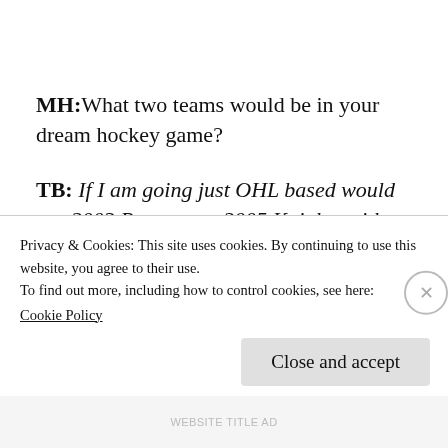MH: What two teams would be in your dream hockey game?
TB: If I am going just OHL based would say 2003 Rangers vs 2005 Knights with the Rangers pulling out a close tight game and Corey Perry and Rob S…
Privacy & Cookies: This site uses cookies. By continuing to use this website, you agree to their use.
To find out more, including how to control cookies, see here:
Cookie Policy
Close and accept
WEBSITE TITLE AD